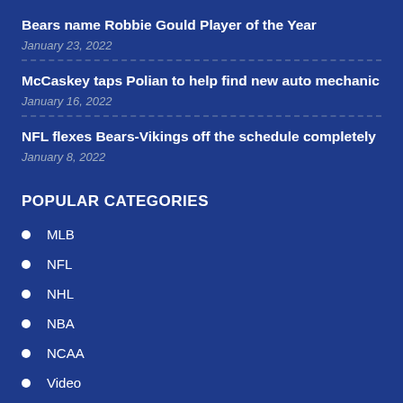Bears name Robbie Gould Player of the Year
January 23, 2022
McCaskey taps Polian to help find new auto mechanic
January 16, 2022
NFL flexes Bears-Vikings off the schedule completely
January 8, 2022
POPULAR CATEGORIES
MLB
NFL
NHL
NBA
NCAA
Video